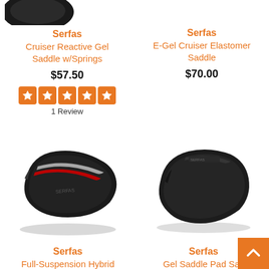[Figure (photo): Partial view of a black bicycle saddle at top left corner]
Serfas
Cruiser Reactive Gel Saddle w/Springs
$57.50
[Figure (other): 5 orange star rating icons]
1 Review
Serfas
E-Gel Cruiser Elastomer Saddle
$70.00
[Figure (photo): Black Serfas Full-Suspension Hybrid Reactive Gel Saddle with red accents]
Serfas
Full-Suspension Hybrid Reactive Gel Saddle
[Figure (photo): Black Serfas Gel Saddle Pad Saddle]
Serfas
Gel Saddle Pad Sac...
[Figure (other): Orange back-to-top button with upward chevron arrow]